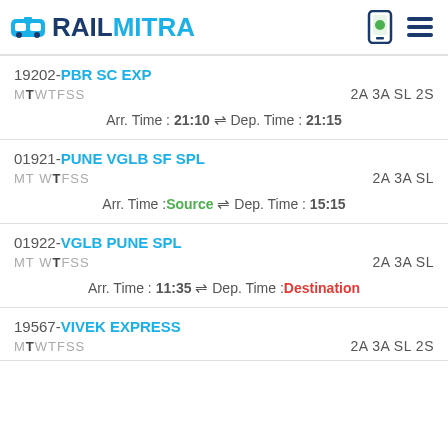RAILMITRA
19202-PBR SC EXP | MTWTFSS | 2A 3A SL 2S | Arr. Time : 21:10 ⇌ Dep. Time : 21:15
01921-PUNE VGLB SF SPL | MTWTFSS | 2A 3A SL | Arr. Time : Source ⇌ Dep. Time : 15:15
01922-VGLB PUNE SPL | MTWTFSS | 2A 3A SL | Arr. Time : 11:35 ⇌ Dep. Time : Destination
19567-VIVEK EXPRESS | MTWTFSS | 2A 3A SL 2S